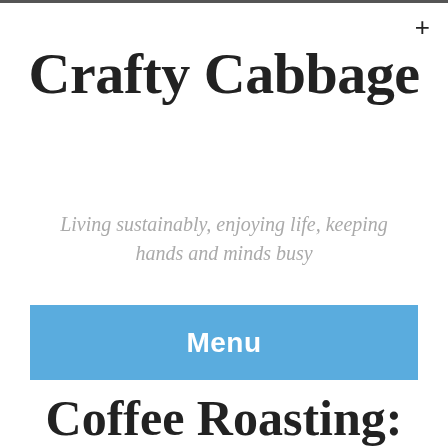+
Crafty Cabbage
Living sustainably, enjoying life, keeping hands and minds busy
Menu
Coffee Roasting: A Guide to